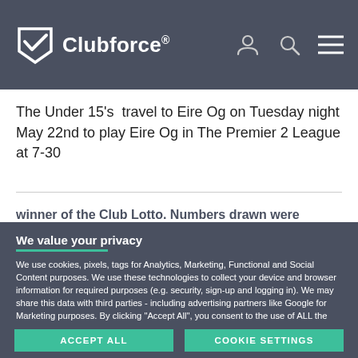Clubforce®
The Under 15's  travel to Eire Og on Tuesday night May 22nd to play Eire Og in The Premier 2 League at 7-30
winner of the Club Lotto. Numbers drawn were 18,19,34
We value your privacy
We use cookies, pixels, tags for Analytics, Marketing, Functional and Social Content purposes. We use these technologies to collect your device and browser information for required purposes (e.g. security, sign-up and logging in). We may share this data with third parties - including advertising partners like Google for Marketing purposes. By clicking "Accept All", you consent to the use of ALL the cookies. Please visit our for more information.
ACCEPT ALL
COOKIE SETTINGS